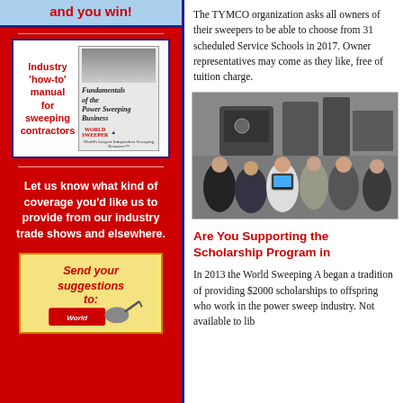and you win!
[Figure (illustration): Book advertisement: Industry 'how-to' manual for sweeping contractors. Book cover shows 'Fundamentals of the Power Sweeping Business' with World Sweeper logo.]
Let us know what kind of coverage you'd like us to provide from our industry trade shows and elsewhere.
[Figure (illustration): Send your suggestions to: World Sweeper graphic with pen/pencil illustration]
The TYMCO organization asks all owners of their sweepers to be able to choose from 31 scheduled Service Schools in 2017. Owner representatives may come as they like, free of tuition charge.
[Figure (photo): Group of people gathered around sweeper machinery in a workshop/garage setting for a service school demonstration]
Are You Supporting the Scholarship Program in
In 2013 the World Sweeping A began a tradition of providing $2000 scholarships to offspring who work in the power sweep industry. Not available to lib